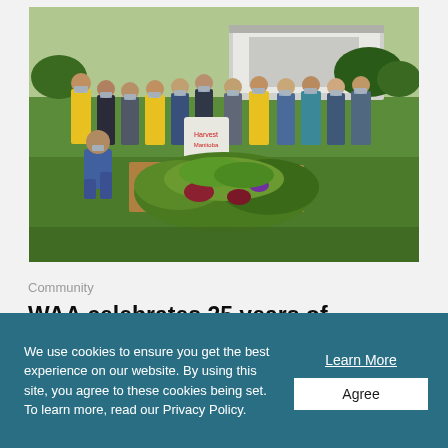[Figure (photo): Group of people wearing face masks standing in front of a large truck outdoors, with boxes and piles of harvested vegetables (leafy greens, beets) spread on the ground in front of them. Some people wear yellow safety vests. The setting is a grassy field.]
Community
WAA celebrates 25 years of supporting Harvest Manitoba through airport vegetable garden
We use cookies to ensure you get the best experience on our website. By using this site, you agree to these cookies being set. To learn more, read our Privacy Policy.